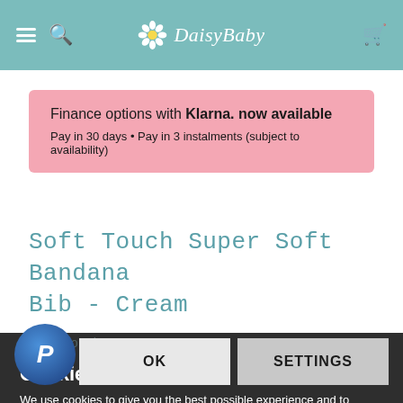Daisy Baby — navigation header with hamburger menu, search, logo, and cart icon
Finance options with Klarna. now available
Pay in 30 days • Pay in 3 instalments (subject to availability)
Soft Touch Super Soft Bandana Bib - Cream
Cookies
We use cookies to give you the best possible experience and to deliver personalised advertising tailored to you. Click 'Settings' to find out more.
OK   SETTINGS